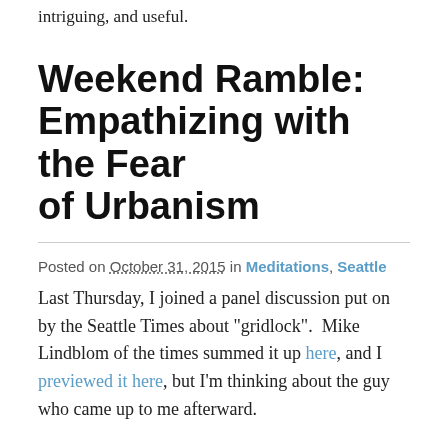intriguing, and useful.
Weekend Ramble: Empathizing with the Fear of Urbanism
Posted on October 31, 2015 in Meditations, Seattle
Last Thursday, I joined a panel discussion put on by the Seattle Times about "gridlock". Mike Lindblom of the times summed it up here, and I previewed it here, but I'm thinking about the guy who came up to me afterward.
At great length, he told me that Seattle's streets had been planned and designed for cars. He began listing specific